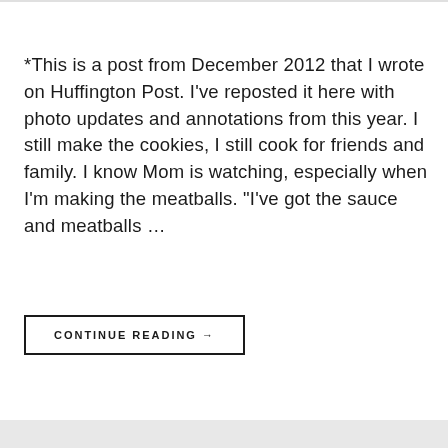*This is a post from December 2012 that I wrote on Huffington Post. I've reposted it here with photo updates and annotations from this year. I still make the cookies, I still cook for friends and family. I know Mom is watching, especially when I'm making the meatballs. "I've got the sauce and meatballs …
CONTINUE READING →